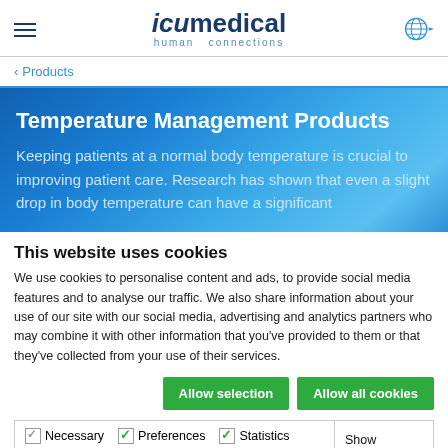[Figure (logo): ICU Medical logo with 'human connections' tagline and hamburger menu icon and globe icon]
‹ Products
Temperature Management Products
Keeping patients at a normal body temperature is crucial to improving patient care. Research has shown that even a slight drop in body temperature can have a significant
This website uses cookies
We use cookies to personalise content and ads, to provide social media features and to analyse our traffic. We also share information about your use of our site with our social media, advertising and analytics partners who may combine it with other information that you've provided to them or that they've collected from your use of their services.
Allow selection   Allow all cookies
Necessary  Preferences  Statistics  Show details  Marketing